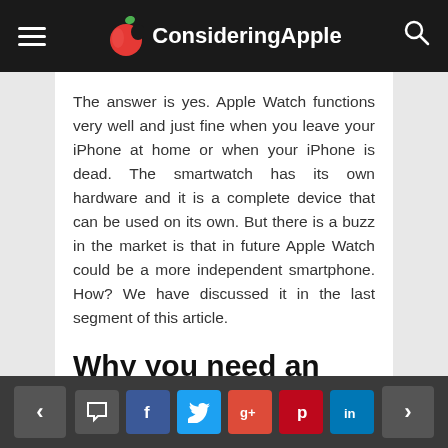ConsideringApple
The answer is yes. Apple Watch functions very well and just fine when you leave your iPhone at home or when your iPhone is dead. The smartwatch has its own hardware and it is a complete device that can be used on its own. But there is a buzz in the market is that in future Apple Watch could be a more independent smartphone. How? We have discussed it in the last segment of this article.
Why you need an iPhone to use Apple Watch?
| Table of Contents |
| --- |
< social share buttons >